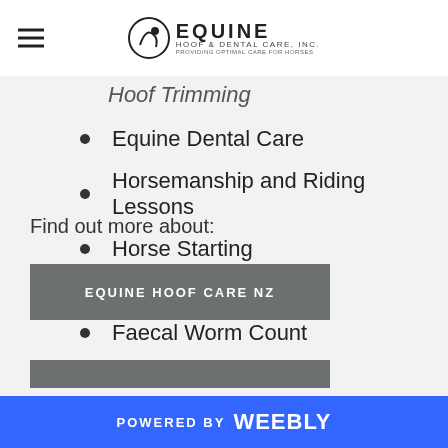Equine Hoof & Dental Care, Inc. — Navigation header with logo
Hoof Trimming
Equine Dental Care
Horsemanship and Riding Lessons
Horse Starting
Horse Livery
Faecal Worm Count
Hoof Boots Services
Find out more about:
EQUINE HOOF CARE NZ
POWERED BY weebly